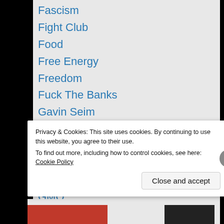Fascism
Fight Club
Food
Free Energy
Freedom
Fuck The Banks
Gavin Seim
Geo-engineering
George Orwell
Global Psyops
Glyphosate
GMO
Government
Government Corruption
Halloween
Privacy & Cookies: This site uses cookies. By continuing to use this website, you agree to their use. To find out more, including how to control cookies, see here: Cookie Policy
Close and accept